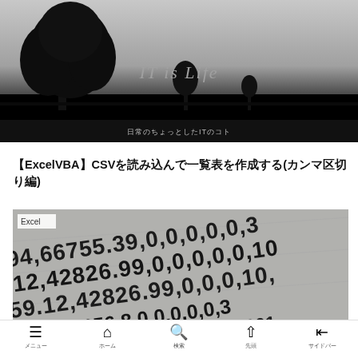IT is Life
日常のちょっとしたITのコト
【ExcelVBA】CSVを読み込んで一覧表を作成する(カンマ区切り編)
[Figure (photo): Close-up photo of spreadsheet/CSV data showing numbers like 5.94,66755.39,0,0,0,0,0,3... and 42826.99, 50656.8 etc. in black and white. Has 'Excel' label tag in upper left.]
メニュー　ホーム　検索　先頭　サイドバー